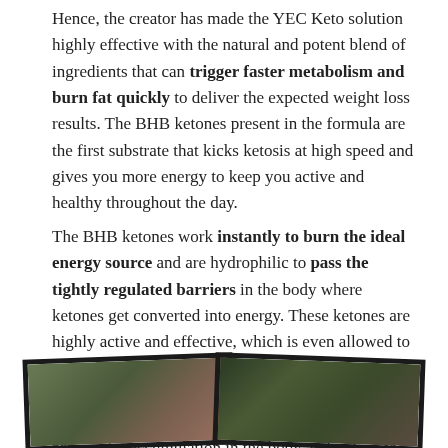Hence, the creator has made the YEC Keto solution highly effective with the natural and potent blend of ingredients that can trigger faster metabolism and burn fat quickly to deliver the expected weight loss results. The BHB ketones present in the formula are the first substrate that kicks ketosis at high speed and gives you more energy to keep you active and healthy throughout the day.
The BHB ketones work instantly to burn the ideal energy source and are hydrophilic to pass the tightly regulated barriers in the body where ketones get converted into energy. These ketones are highly active and effective, which is even allowed to cross the Blood-Brain Barrier (BBB), which can improve the brain cells and enhance mental acuity. The YEC Keto capsules, once consumed, start to prevent fat accumulation in the body and reduce the abnormal bodyweight naturally.
[Figure (photo): Two overlapping polaroid-style photos of people, partially cropped at the bottom of the page, set against green/nature backgrounds.]